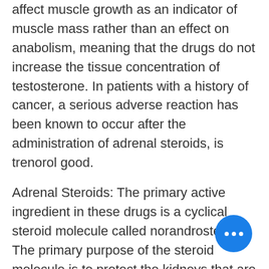affect muscle growth as an indicator of muscle mass rather than an effect on anabolism, meaning that the drugs do not increase the tissue concentration of testosterone. In patients with a history of cancer, a serious adverse reaction has been known to occur after the administration of adrenal steroids, is trenorol good.
Adrenal Steroids: The primary active ingredient in these drugs is a cyclical steroid molecule called norandrosterone. The primary purpose of the steroid molecule is to protect the kidneys that are responsible for processing the waste products derived from the metabolism of testosterone, somatropin buy online. For this reason, these drugs are well tolerated. When used to increase muscle size, it is recommended in clinical trials to take them at a dose of 2 days, not greater than 12 days before and after a